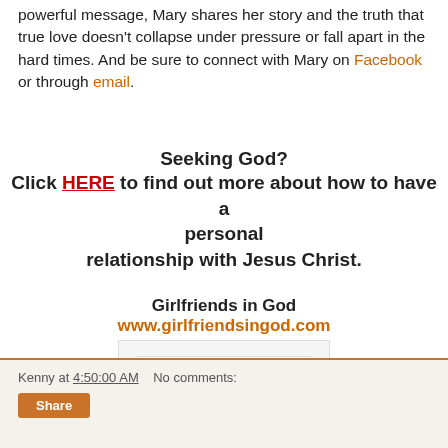powerful message, Mary shares her story and the truth that true love doesn't collapse under pressure or fall apart in the hard times. And be sure to connect with Mary on Facebook or through email.
Seeking God?
Click HERE to find out more about how to have a personal relationship with Jesus Christ.
Girlfriends in God
www.girlfriendsingod.com
[Figure (screenshot): Small embedded image showing a form or document with text lines.]
Kenny at 4:50:00 AM   No comments:
Share